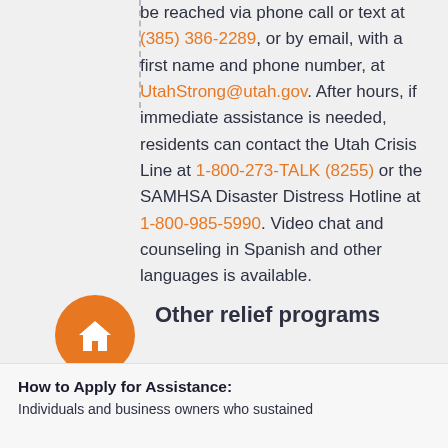be reached via phone call or text at (385) 386-2289, or by email, with a first name and phone number, at UtahStrong@utah.gov. After hours, if immediate assistance is needed, residents can contact the Utah Crisis Line at 1-800-273-TALK (8255) or the SAMHSA Disaster Distress Hotline at 1-800-985-5990. Video chat and counseling in Spanish and other languages is available.
[Figure (illustration): Orange circle with white house/home icon]
Other relief programs
Other relief programs: Advisory assistance for legal, veterans' benefits and social security matters.
How to Apply for Assistance:
Individuals and business owners who sustained